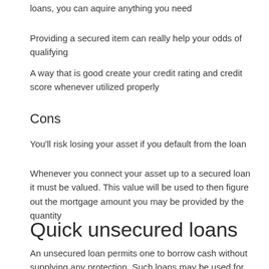loans, you can aquire anything you need
Providing a secured item can really help your odds of qualifying
A way that is good create your credit rating and credit score whenever utilized properly
Cons
You'll risk losing your asset if you default from the loan
Whenever you connect your asset up to a secured loan it must be valued. This value will be used to then figure out the mortgage amount you may be provided by the quantity
Quick unsecured loans
An unsecured loan permits one to borrow cash without supplying any protection. Such loans may be used for a selection of things